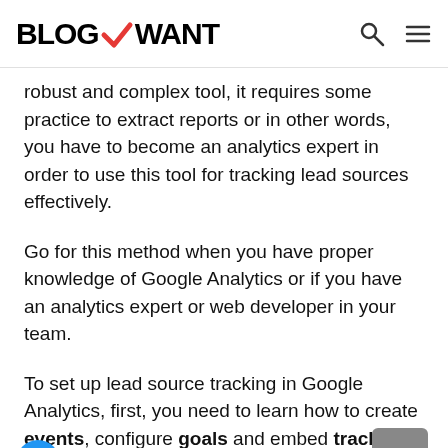BLOGWANT
robust and complex tool, it requires some practice to extract reports or in other words, you have to become an analytics expert in order to use this tool for tracking lead sources effectively.
Go for this method when you have proper knowledge of Google Analytics or if you have an analytics expert or web developer in your team.
To set up lead source tracking in Google Analytics, first, you need to learn how to create events, configure goals and embed tracking code on a website. Only after that,